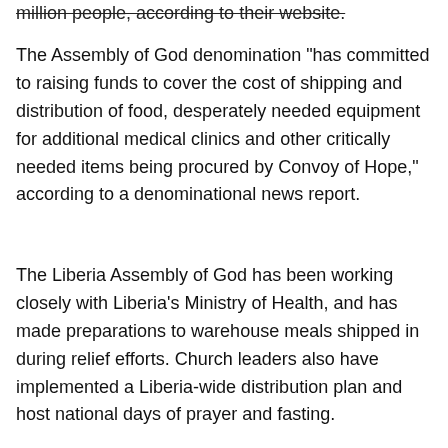million people, according to their website.
The Assembly of God denomination "has committed to raising funds to cover the cost of shipping and distribution of food, desperately needed equipment for additional medical clinics and other critically needed items being procured by Convoy of Hope," according to a denominational news report.
The Liberia Assembly of God has been working closely with Liberia's Ministry of Health, and has made preparations to warehouse meals shipped in during relief efforts. Church leaders also have implemented a Liberia-wide distribution plan and host national days of prayer and fasting.